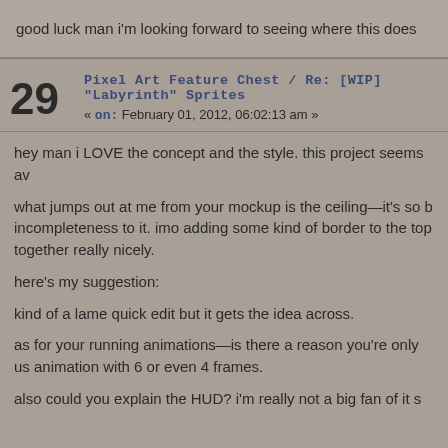good luck man i'm looking forward to seeing where this does
29  Pixel Art Feature Chest / Re: [WIP] "Labyrinth" Sprites
« on: February 01, 2012, 06:02:13 am »
hey man i LOVE the concept and the style. this project seems av
what jumps out at me from your mockup is the ceiling—it's so b incompleteness to it. imo adding some kind of border to the top together really nicely.
here's my suggestion:
kind of a lame quick edit but it gets the idea across.
as for your running animations—is there a reason you're only us animation with 6 or even 4 frames.
also could you explain the HUD? i'm really not a big fan of it s